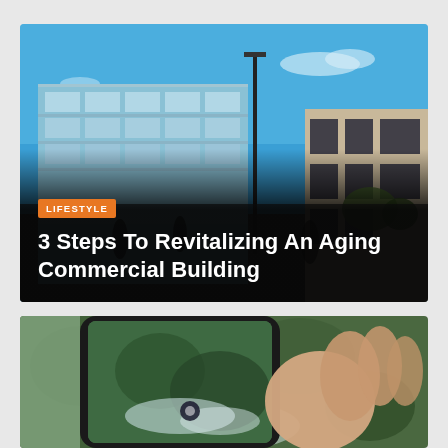[Figure (photo): Photo of modern commercial office buildings with glass facades under a bright blue sky, street scene with lamp post]
LIFESTYLE
3 Steps To Revitalizing An Aging Commercial Building
[Figure (photo): Close-up of a hand holding a smartphone displaying an aerial map view with a location marker]